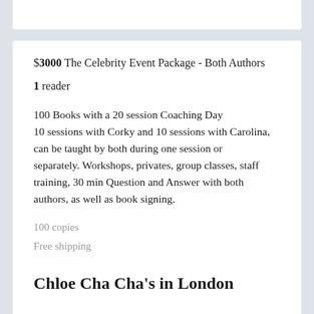$3000 The Celebrity Event Package - Both Authors
1 reader
100 Books with a 20 session Coaching Day 10 sessions with Corky and 10 sessions with Carolina, can be taught by both during one session or separately. Workshops, privates, group classes, staff training, 30 min Question and Answer with both authors, as well as book signing.
100 copies
Free shipping
Chloe Cha Cha's in London